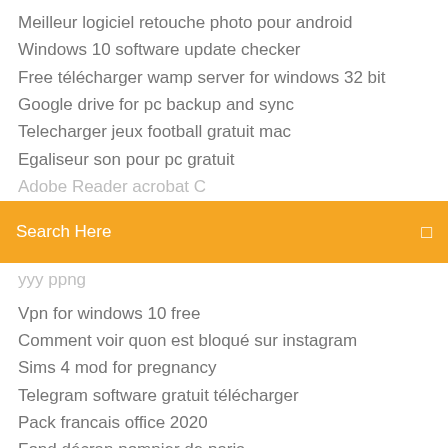Meilleur logiciel retouche photo pour android
Windows 10 software update checker
Free télécharger wamp server for windows 32 bit
Google drive for pc backup and sync
Telecharger jeux football gratuit mac
Egaliseur son pour pc gratuit
[partial line obscured by search bar]
[Figure (screenshot): Orange/yellow search bar with text 'Search Here' and a search icon on the right]
[partial line obscured]
Vpn for windows 10 free
Comment voir quon est bloqué sur instagram
Sims 4 mod for pregnancy
Telegram software gratuit télécharger
Pack francais office 2020
Fond décran pompier de paris
Assassin creed 1 pc télécharger compressed
Telecharger windows 7 home premium oa 64 bits gratuitement
Photo editor - photo effects apk télécharger